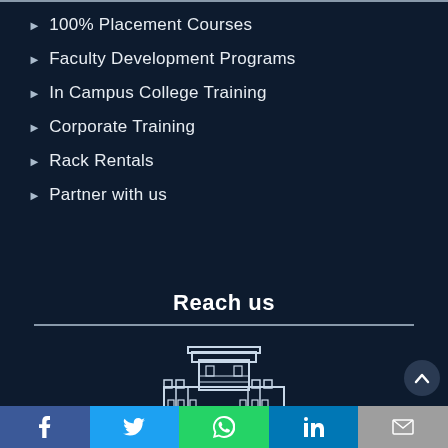100% Placement Courses
Faculty Development Programs
In Campus College Training
Corporate Training
Rack Rentals
Partner with us
Reach us
[Figure (illustration): Outline illustration of Pune gate/fort landmark with text PUNE below]
+91 975 889 444...
Social sharing bar: Facebook, Twitter, WhatsApp, LinkedIn, Email